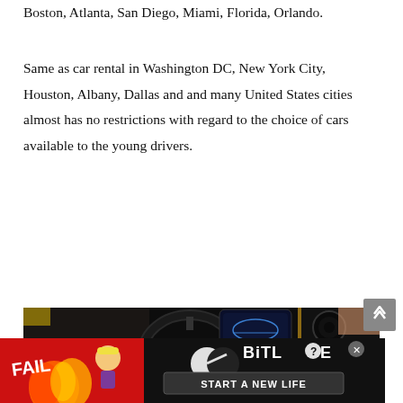Boston, Atlanta, San Diego, Miami, Florida, Orlando.
Same as car rental in Washington DC, New York City, Houston, Albany, Dallas and and many United States cities almost has no restrictions with regard to the choice of cars available to the young drivers.
[Figure (photo): Interior view of a McLaren sports car showing the steering wheel, digital instrument cluster, carbon fiber dashboard, center console with touchscreen, and air vents. A person's hand is visible in the background, and parts of the car's yellow exterior are seen.]
[Figure (screenshot): Advertisement banner for BitLife mobile game showing a cartoon blonde woman with flames and 'FAIL' text on the left, and the BitLife logo with 'START A NEW LIFE' text on a dark background on the right. Close button (X) visible in top right.]